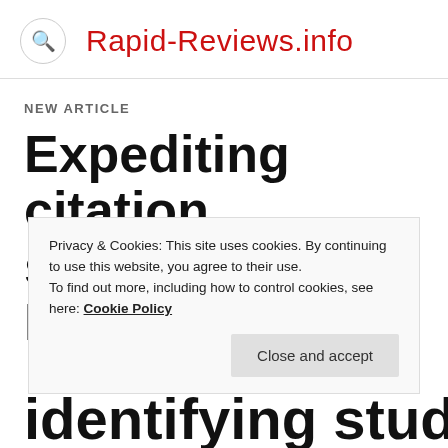Rapid-Reviews.info
NEW ARTICLE
Expediting citation screening using PICo-
Privacy & Cookies: This site uses cookies. By continuing to use this website, you agree to their use.
To find out more, including how to control cookies, see here: Cookie Policy
Close and accept
identifying studies in